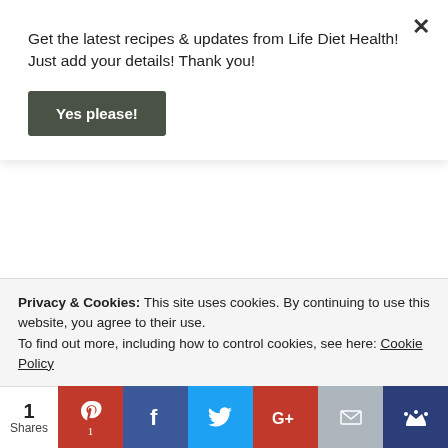Get the latest recipes & updates from Life Diet Health! Just add your details! Thank you!
Yes please!
RITA   3rd August 2019 at 18:38
Pinned that Bear! Nice to be with Fiesta Friday event this week!
Also, I am co-hosting this week's FIESTA FRIDAY #287 and will be visiting and commenting on your posts as the official Fiesta Friday representative and
Privacy & Cookies: This site uses cookies. By continuing to use this website, you agree to their use.
To find out more, including how to control cookies, see here: Cookie Policy
1 Shares